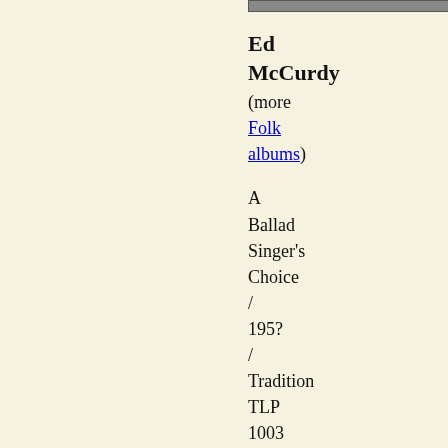[Figure (photo): Partial image strip at top of page, cropped photo of album or artist]
Ed McCurdy
(more Folk albums)
A Ballad Singer's Choice / 195? / Tradition TLP 1003 mono
VG++ / NM / $28.00